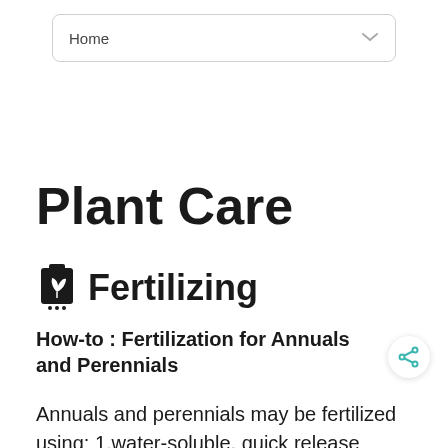Home
Plant Care
Fertilizing
How-to : Fertilization for Annuals and Perennials
Annuals and perennials may be fertilized using: 1.water-soluble, quick release fertilizers; 2.